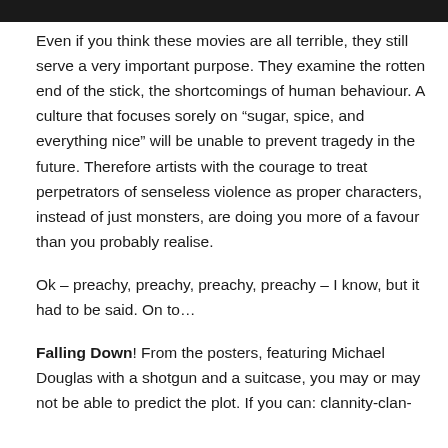[Figure (photo): Dark/black banner image at the top of the page]
Even if you think these movies are all terrible, they still serve a very important purpose. They examine the rotten end of the stick, the shortcomings of human behaviour. A culture that focuses sorely on “sugar, spice, and everything nice” will be unable to prevent tragedy in the future. Therefore artists with the courage to treat perpetrators of senseless violence as proper characters, instead of just monsters, are doing you more of a favour than you probably realise.
Ok – preachy, preachy, preachy, preachy – I know, but it had to be said. On to…
Falling Down! From the posters, featuring Michael Douglas with a shotgun and a suitcase, you may or may not be able to predict the plot. If you can: clannity-clan-